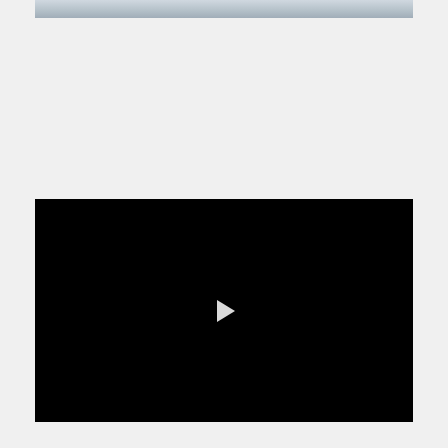[Figure (photo): Partial view of a photo showing what appears to be white/light colored objects, possibly medical or laboratory equipment, against a light blue-gray background. Only the bottom edge of the image is visible at the top of the page.]
[Figure (screenshot): A video player with a completely black screen and a white play button triangle centered in the middle, indicating a video that has not been played yet.]